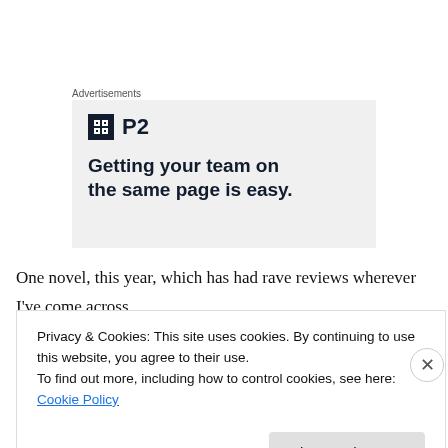Advertisements
[Figure (illustration): Advertisement banner with P2 logo and tagline 'Getting your team on the same page is easy.']
One novel, this year, which has had rave reviews wherever I've come across them – and I've read other books by this contemporary Polish writer – Olga
Privacy & Cookies: This site uses cookies. By continuing to use this website, you agree to their use.
To find out more, including how to control cookies, see here: Cookie Policy
Close and accept